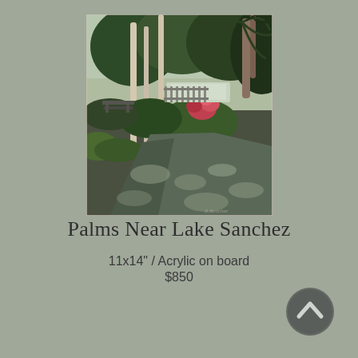[Figure (illustration): Acrylic painting of a shaded path near Lake Sanchez with palm trees, tropical foliage, red flowering plants, and dappled sunlight on the ground. Artist signature visible in lower right: R. Benchar (or similar). Painting presented as a framed/bordered rectangular image.]
Palms Near Lake Sanchez
11x14" / Acrylic on board
$850
[Figure (other): A circular dark gray button with an upward-pointing chevron/arrow icon, used as a scroll-to-top navigation button.]